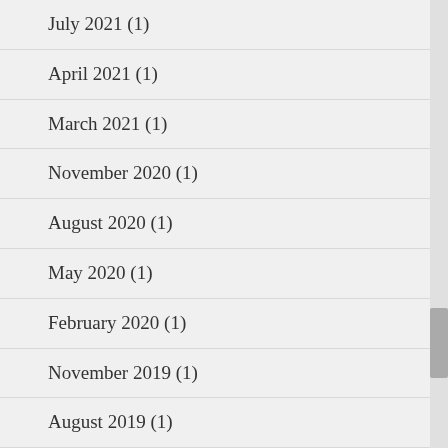July 2021 (1)
April 2021 (1)
March 2021 (1)
November 2020 (1)
August 2020 (1)
May 2020 (1)
February 2020 (1)
November 2019 (1)
August 2019 (1)
May 2019 (1)
February 2019 (1)
November 2018 (1)